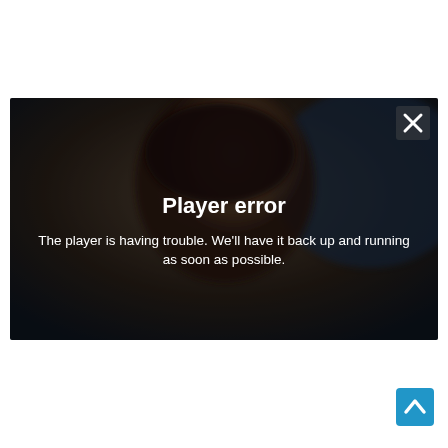[Figure (screenshot): Video player error screen showing a blurred/darkened photo of a person smiling, overlaid with a white 'X' close button in the top-right corner, bold white text 'Player error' as a title, and a message 'The player is having trouble. We’ll have it back up and running as soon as possible.' centered on the video frame.]
[Figure (other): A blue square scroll-to-top button with a white upward-pointing chevron arrow, positioned in the bottom-right of the page.]